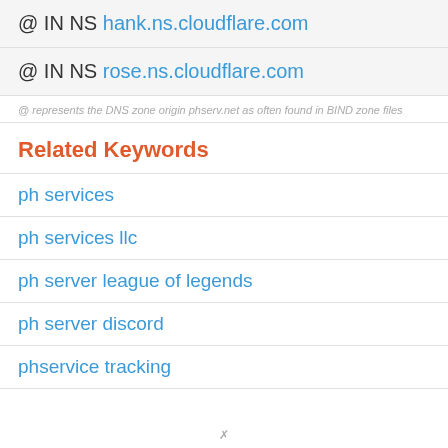@ IN NS hank.ns.cloudflare.com
@ IN NS rose.ns.cloudflare.com
@ represents the DNS zone origin phserv.net as often found in BIND zone files
Related Keywords
ph services
ph services llc
ph server league of legends
ph server discord
phservice tracking